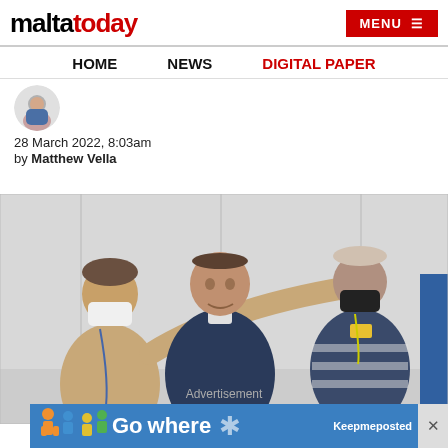maltatoday | MENU
HOME   NEWS   DIGITAL PAPER
28 March 2022, 8:03am
by Matthew Vella
[Figure (photo): Three men in a white room, two wearing face masks; leftmost man in beige sweater points with arm extended, center man in dark jacket faces camera, right man in striped shirt wears black mask and yellow lanyard]
Advertisement
[Figure (infographic): Keepmeposted advertisement banner: blue background with illustrated figures, text 'Go where' and 'Keepmeposted']